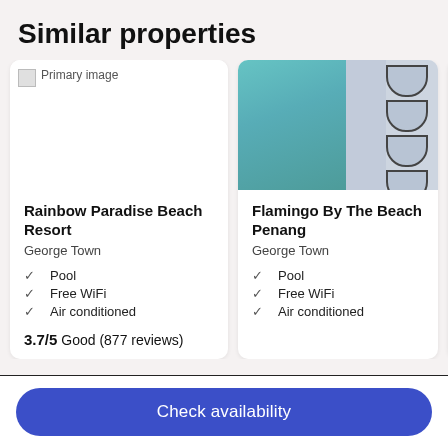Similar properties
[Figure (photo): Placeholder image for Rainbow Paradise Beach Resort]
Rainbow Paradise Beach Resort
George Town
Pool
Free WiFi
Air conditioned
3.7/5 Good (877 reviews)
[Figure (photo): Photo of Flamingo By The Beach Penang hotel showing teal ocean water and white building with balconies]
Flamingo By The Beach Penang
George Town
Pool
Free WiFi
Air conditioned
Check availability